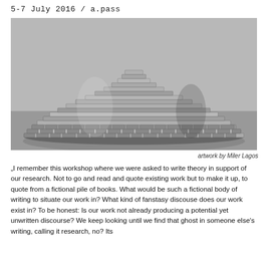5-7 July 2016 / a.pass
[Figure (photo): Black and white photograph of a dome-shaped sculpture made entirely of stacked books arranged in horizontal layers, resembling an igloo, displayed in a gallery setting on a grey floor against a light wall.]
artwork by Miler Lagos
„I remember this workshop where we were asked to write theory in support of our research. Not to go and read and quote existing work but to make it up, to quote from a fictional pile of books. What would be such a fictional body of writing to situate our work in? What kind of fanstasy discouse does our work exist in? To be honest: Is our work not already producing a potential yet unwritten discourse? We keep looking until we find that ghost in someone else's writing, calling it research, no? Its